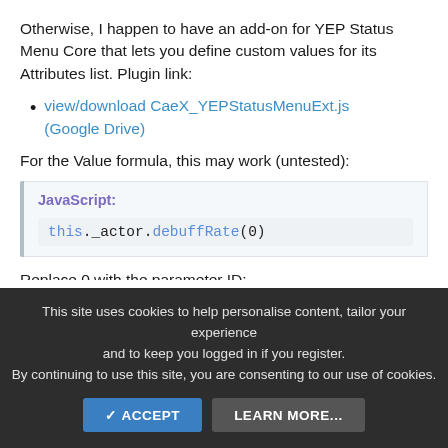Otherwise, I happen to have an add-on for YEP Status Menu Core that lets you define custom values for its Attributes list. Plugin link:
view/download CaeX_YEPStatusMenuExt.js (Google Drive)
For the Value formula, this may work (untested):
JavaScript:
this._actor.debuffRate(0)
Replace 0 with the parameter ID:
| 0 | MHP | | | 1 | MMP |
| 2 | ATK | | | 3 | DEF |
| 4 | MAT | | | 5 | MDF |
This site uses cookies to help personalise content, tailor your experience and to keep you logged in if you register.
By continuing to use this site, you are consenting to our use of cookies.
ACCEPT   LEARN MORE...